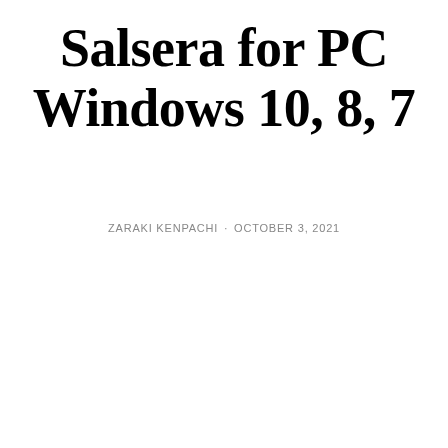Salsera for PC Windows 10, 8, 7
ZARAKI KENPACHI · OCTOBER 3, 2021